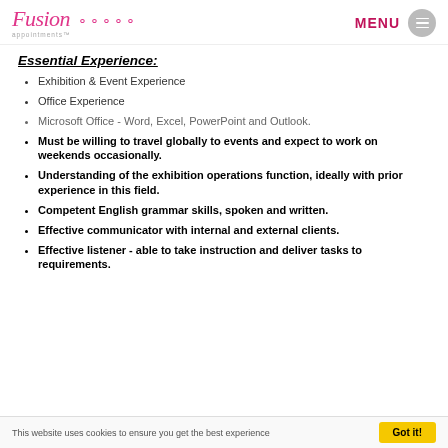Fusion appointments MENU
Essential Experience:
Exhibition & Event Experience
Office Experience
Microsoft Office - Word, Excel, PowerPoint and Outlook.
Must be willing to travel globally to events and expect to work on weekends occasionally.
Understanding of the exhibition operations function, ideally with prior experience in this field.
Competent English grammar skills, spoken and written.
Effective communicator with internal and external clients.
Effective listener - able to take instruction and deliver tasks to requirements.
This website uses cookies to ensure you get the best experience   Got it!